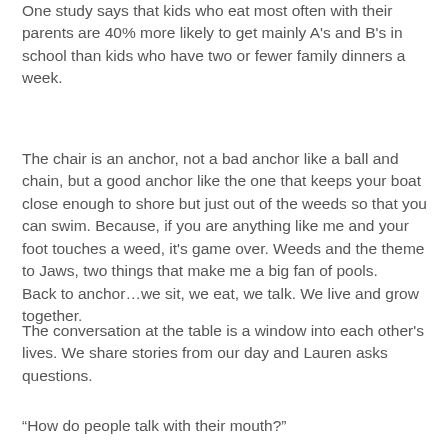One study says that kids who eat most often with their parents are 40% more likely to get mainly A's and B's in school than kids who have two or fewer family dinners a week.
The chair is an anchor, not a bad anchor like a ball and chain, but a good anchor like the one that keeps your boat close enough to shore but just out of the weeds so that you can swim. Because, if you are anything like me and your foot touches a weed, it's game over. Weeds and the theme to Jaws, two things that make me a big fan of pools.
Back to anchor…we sit, we eat, we talk. We live and grow together.
The conversation at the table is a window into each other's lives. We share stories from our day and Lauren asks questions.
“How do people talk with their mouth?”